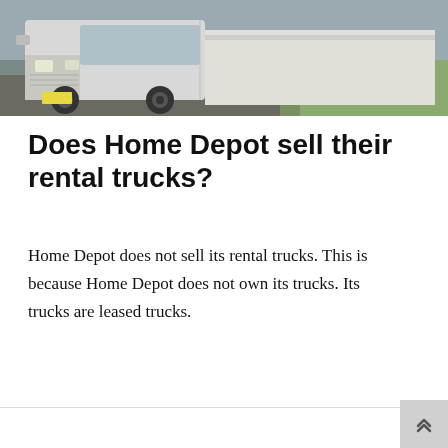[Figure (photo): A large white commercial/rental truck (cab-over style, similar to a Ford F-series or similar heavy truck) photographed outdoors, with greenery visible in the background. The truck appears to be a flatbed or large rental truck.]
Does Home Depot sell their rental trucks?
Home Depot does not sell its rental trucks. This is because Home Depot does not own its trucks. Its trucks are leased trucks.